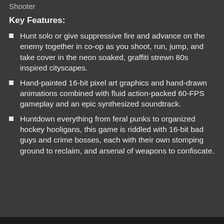Shooter
Key Features:
Hunt solo or give suppressive fire and advance on the enemy together in co-op as you shoot, run, jump, and take cover in the neon soaked, graffiti strewn 80s inspired cityscapes.
Hand-painted 16-bit pixel art graphics and hand-drawn animations combined with fluid action-packed 60-FPS gameplay and an epic synthesized soundtrack.
Huntdown everything from feral punks to organized hockey hooligans, this game is riddled with 16-bit bad guys and crime bosses, each with their own stomping ground to reclaim, and arsenal of weapons to confiscate.